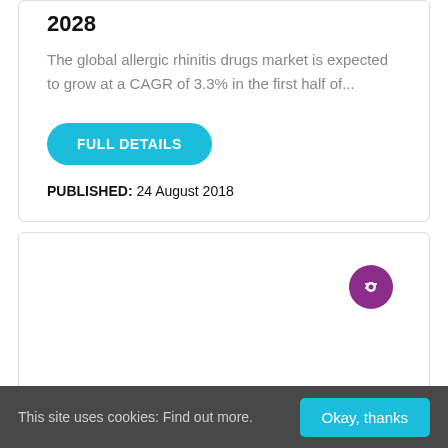2028
The global allergic rhinitis drugs market is expected to grow at a CAGR of 3.3% in the first half of...
FULL DETAILS   PUBLISHED: 24 August 2018
[Figure (other): Chat/messaging button icon in purple circle]
This site uses cookies: Find out more.   Okay, thanks